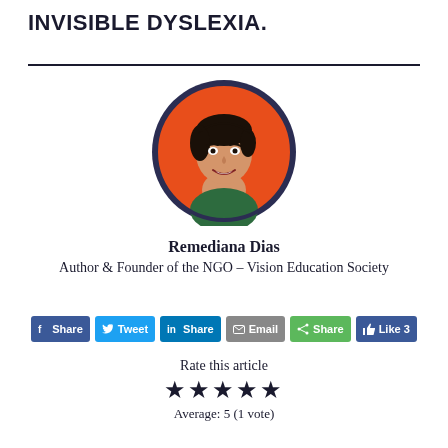INVISIBLE DYSLEXIA.
[Figure (illustration): Circular portrait illustration of Remediana Dias on an orange background, with dark hair and green top, inside a dark navy border circle.]
Remediana Dias
Author & Founder of the NGO - Vision Education Society
Share | Tweet | Share | Email | Share | Like 3
Rate this article
★★★★★
Average: 5 (1 vote)